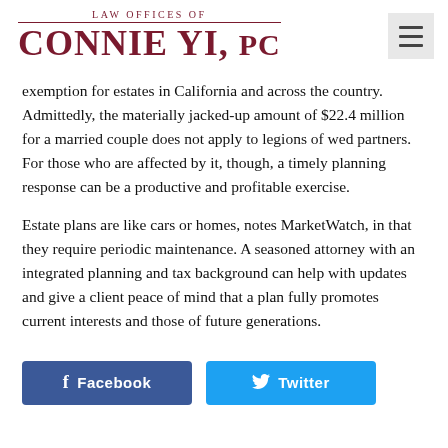Law Offices of Connie Yi, PC
exemption for estates in California and across the country. Admittedly, the materially jacked-up amount of $22.4 million for a married couple does not apply to legions of wed partners. For those who are affected by it, though, a timely planning response can be a productive and profitable exercise.
Estate plans are like cars or homes, notes MarketWatch, in that they require periodic maintenance. A seasoned attorney with an integrated planning and tax background can help with updates and give a client peace of mind that a plan fully promotes current interests and those of future generations.
[Figure (other): Facebook and Twitter social share buttons at the bottom of the page]